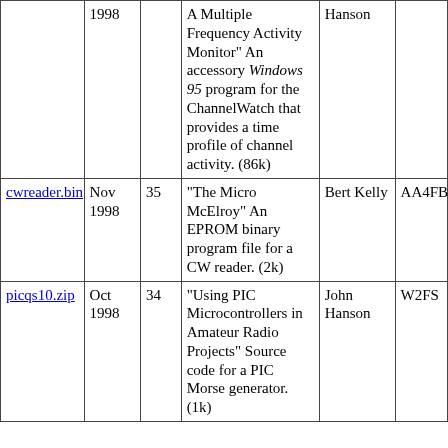| File | Date | Issue | Description | Author | Call |
| --- | --- | --- | --- | --- | --- |
|  | 1998 |  | A Multiple Frequency Activity Monitor" An accessory Windows 95 program for the ChannelWatch that provides a time profile of channel activity. (86k) | Hanson |  |
| cwreader.bin | Nov 1998 | 35 | "The Micro McElroy" An EPROM binary program file for a CW reader. (2k) | Bert Kelly | AA4FB |
| picqs10.zip | Oct 1998 | 34 | "Using PIC Microcontrollers in Amateur Radio Projects" Source code for a PIC Morse generator. (1k) | John Hanson | W2FS |